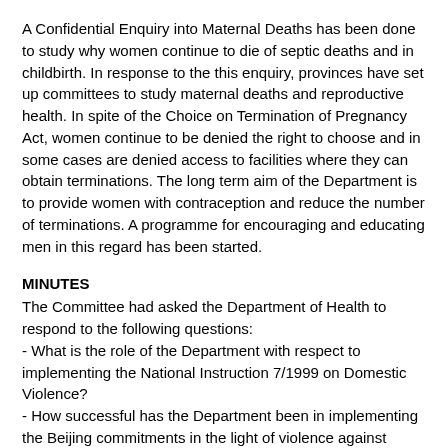A Confidential Enquiry into Maternal Deaths has been done to study why women continue to die of septic deaths and in childbirth. In response to the this enquiry, provinces have set up committees to study maternal deaths and reproductive health. In spite of the Choice on Termination of Pregnancy Act, women continue to be denied the right to choose and in some cases are denied access to facilities where they can obtain terminations. The long term aim of the Department is to provide women with contraception and reduce the number of terminations. A programme for encouraging and educating men in this regard has been started.
MINUTES
The Committee had asked the Department of Health to respond to the following questions:
- What is the role of the Department with respect to implementing the National Instruction 7/1999 on Domestic Violence?
- How successful has the Department been in implementing the Beijing commitments in the light of violence against women becoming a public health priority?
- What problems have been encountered by the Department and the public with regard to access to termination of pregnancy?